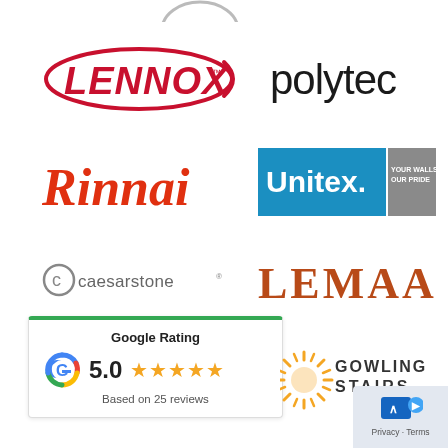[Figure (logo): Partial logo at top center (cropped)]
[Figure (logo): Lennox brand logo in red italic text with swoosh]
[Figure (logo): polytec brand logo in thin dark text]
[Figure (logo): Rinnai brand logo in red italic serif text]
[Figure (logo): Unitex brand logo with blue and grey blocks]
[Figure (logo): caesarstone brand logo with circular C icon]
[Figure (logo): LEMAAR brand logo in orange-brown serif text]
[Figure (infographic): Google Rating card showing 5.0 stars based on 25 reviews with green top border]
[Figure (logo): Gowling Stairs brand logo with sunburst icon]
[Figure (screenshot): Privacy/Terms overlay with blue icon in bottom right corner]